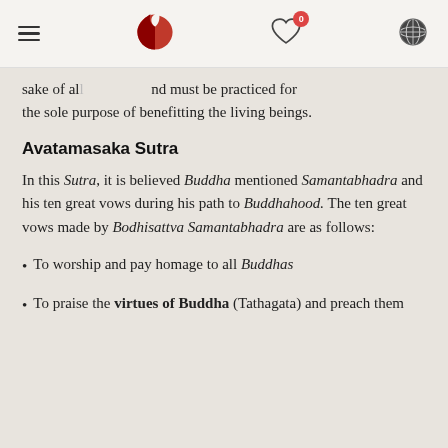Navigation header with menu, logo, favorites, and globe icons
sake of all… …and must be practiced for the sole purpose of benefitting the living beings.
Avatamasaka Sutra
In this Sutra, it is believed Buddha mentioned Samantabhadra and his ten great vows during his path to Buddhahood. The ten great vows made by Bodhisattva Samantabhadra are as follows:
To worship and pay homage to all Buddhas
To praise the virtues of Buddha (Tathagata) and preach them